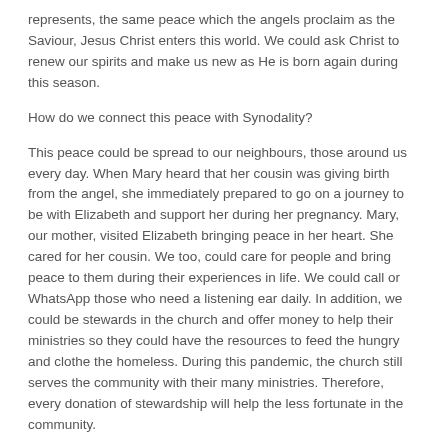represents, the same peace which the angels proclaim as the Saviour, Jesus Christ enters this world. We could ask Christ to renew our spirits and make us new as He is born again during this season.
How do we connect this peace with Synodality?
This peace could be spread to our neighbours, those around us every day. When Mary heard that her cousin was giving birth from the angel, she immediately prepared to go on a journey to be with Elizabeth and support her during her pregnancy. Mary, our mother, visited Elizabeth bringing peace in her heart. She cared for her cousin. We too, could care for people and bring peace to them during their experiences in life. We could call or WhatsApp those who need a listening ear daily. In addition, we could be stewards in the church and offer money to help their ministries so they could have the resources to feed the hungry and clothe the homeless. During this pandemic, the church still serves the community with their many ministries. Therefore, every donation of stewardship will help the less fortunate in the community.
May we show kindness everyday of our lives and may our peace echo throughout our journey.